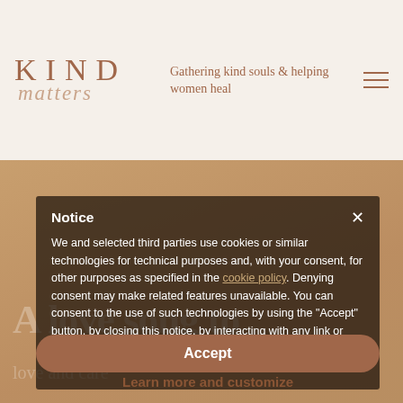[Figure (screenshot): Kind Matters website header with logo 'KIND matters', tagline 'Gathering kind souls & helping women heal', and hamburger menu icon]
[Figure (photo): Background photo of a woman, partially visible, with warm tan/beige overlay]
Notice
We and selected third parties use cookies or similar technologies for technical purposes and, with your consent, for other purposes as specified in the cookie policy. Denying consent may make related features unavailable. You can consent to the use of such technologies by using the "Accept" button, by closing this notice, by interacting with any link or button outside of this notice or by continuing to browse otherwise.
Accept
Learn more and customize
A love song to